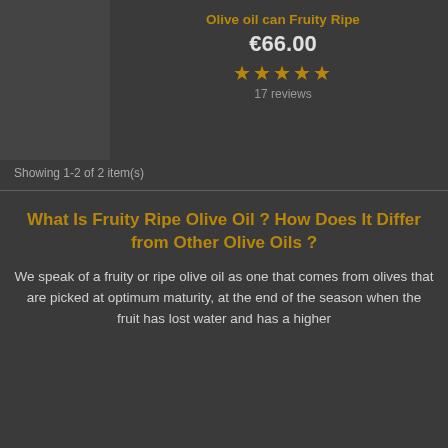Olive oil can Fruity Ripe
€66.00
[Figure (other): Five gold star rating icons]
17 reviews
Showing 1-2 of 2 item(s)
What Is Fruity Ripe Olive Oil ? How Does It Differ from Other Olive Oils ?
We speak of a fruity or ripe olive oil as one that comes from olives that are picked at optimum maturity, at the end of the season when the fruit has lost water and has a higher